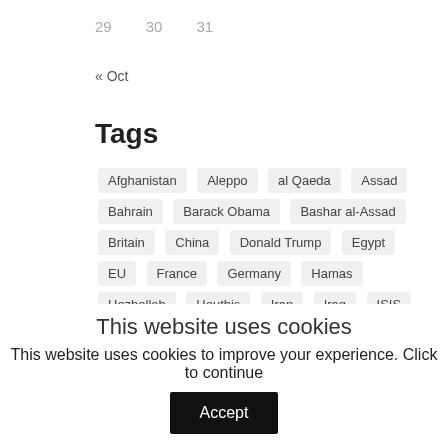29   30   31
« Oct
Tags
Afghanistan
Aleppo
al Qaeda
Assad
Bahrain
Barack Obama
Bashar al-Assad
Britain
China
Donald Trump
Egypt
EU
France
Germany
Hamas
Hezbollah
Houthis
Iran
Iraq
ISIS
Islamic State of Iraq and Syria
Israel
Jordan
Kuwait
Lebanon
Libya
Mosul
Muslim Brotherhood
palestine
Qatar
Recep Tayyip Erdoğan
Russia
This website uses cookies
This website uses cookies to improve your experience. Click to continue
Accept